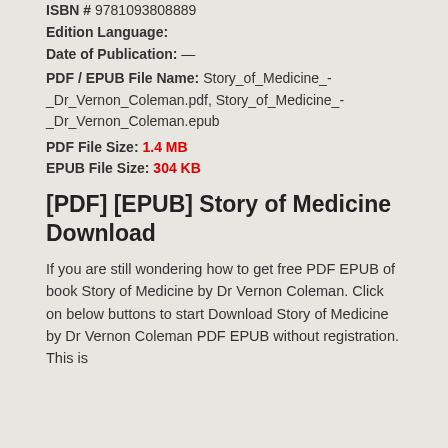ISBN # 9781093808889
Edition Language:
Date of Publication: —
PDF / EPUB File Name: Story_of_Medicine_-_Dr_Vernon_Coleman.pdf, Story_of_Medicine_-_Dr_Vernon_Coleman.epub
PDF File Size: 1.4 MB
EPUB File Size: 304 KB
[PDF] [EPUB] Story of Medicine Download
If you are still wondering how to get free PDF EPUB of book Story of Medicine by Dr Vernon Coleman. Click on below buttons to start Download Story of Medicine by Dr Vernon Coleman PDF EPUB without registration. This is